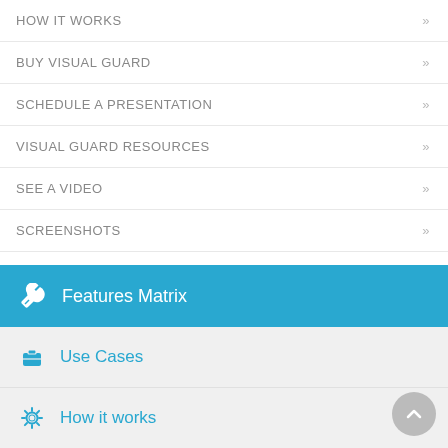HOW IT WORKS
BUY VISUAL GUARD
SCHEDULE A PRESENTATION
VISUAL GUARD RESOURCES
SEE A VIDEO
SCREENSHOTS
Try Visual Guard
Features Matrix
Use Cases
How it works